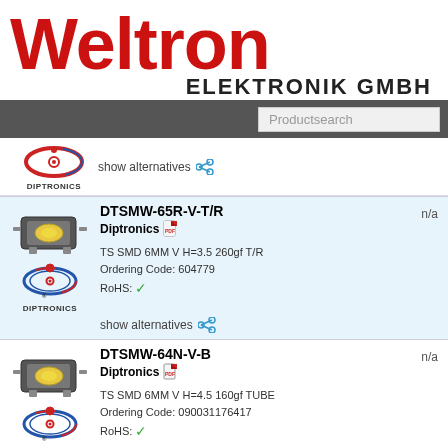[Figure (logo): Weltron Elektronik GmbH logo with large red Weltron text and black ELEKTRONIK GMBH subtitle]
[Figure (screenshot): Dark grey navigation bar with Productsearch input box on right]
DIPTRONICS   show alternatives
| Image/Logo | Product | Price |
| --- | --- | --- |
| [SMD switch image + DIPTRONICS logo] | DTSMW-65R-V-T/R
Diptronics
TS SMD 6MM V H=3.5 260gf T/R
Ordering Code: 604779
RoHS: ✓
show alternatives | n/a |
| [SMD switch image + DIPTRONICS logo] | DTSMW-64N-V-B
Diptronics
TS SMD 6MM V H=4.5 160gf TUBE
Ordering Code: 090031176417
RoHS: ✓
show alternatives | n/a |
DTSMW-64R-V-B